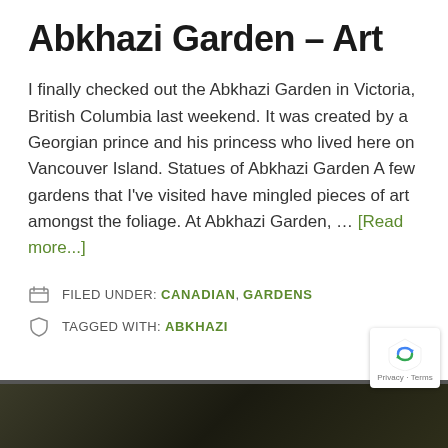Abkhazi Garden – Art
I finally checked out the Abkhazi Garden in Victoria, British Columbia last weekend. It was created by a Georgian prince and his princess who lived here on Vancouver Island. Statues of Abkhazi Garden A few gardens that I've visited have mingled pieces of art amongst the foliage. At Abkhazi Garden, … [Read more...]
FILED UNDER: CANADIAN, GARDENS
TAGGED WITH: ABKHAZI
[Figure (photo): Dark photo strip showing foliage/garden scene at the bottom of the page]
[Figure (logo): reCAPTCHA badge with the reCAPTCHA logo and Privacy · Terms text]